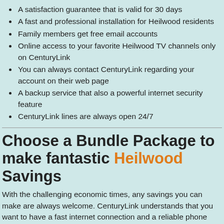A satisfaction guarantee that is valid for 30 days
A fast and professional installation for Heilwood residents
Family members get free email accounts
Online access to your favorite Heilwood TV channels only on CenturyLink
You can always contact CenturyLink regarding your account on their web page
A backup service that also a powerful internet security feature
CenturyLink lines are always open 24/7
Choose a Bundle Package to make fantastic Heilwood Savings
With the challenging economic times, any savings you can make are always welcome. CenturyLink understands that you want to have a fast internet connection and a reliable phone service at a fair cost. For this reason, the provider introduces a bundle package that offers you the best services at an affordable cost. On this bundle package, you can customize